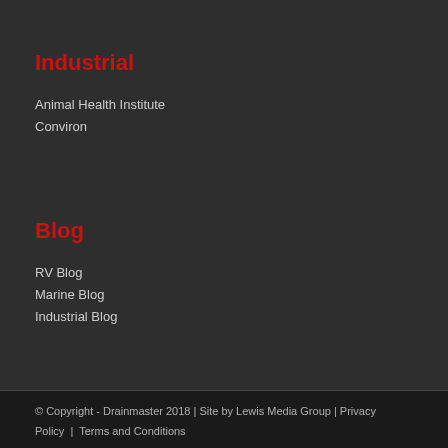Industrial
Animal Health Institute
Conviron
Blog
RV Blog
Marine Blog
Industrial Blog
© Copyright - Drainmaster 2018 | Site by Lewis Media Group | Privacy Policy | Terms and Conditions